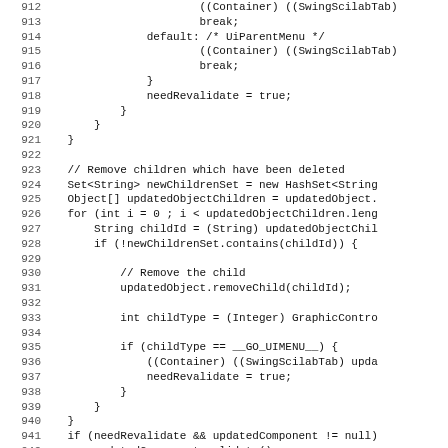Source code listing lines 912-943, Java code showing container/menu handling logic